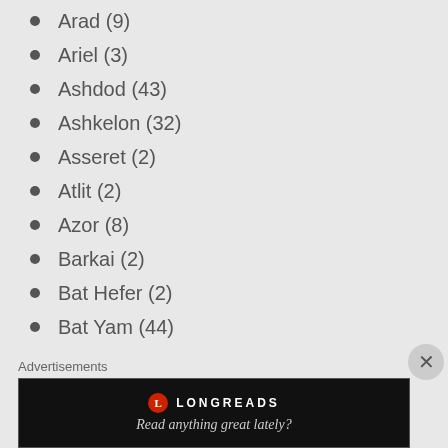Arad (9)
Ariel (3)
Ashdod (43)
Ashkelon (32)
Asseret (2)
Atlit (2)
Azor (8)
Barkai (2)
Bat Hefer (2)
Bat Yam (44)
Batzra (1)
Bayit VeGan (1)
Beer Sheva (76)
Beer Yaacob (2)
BEEROTAYIM (1)
Advertisements
[Figure (other): Longreads advertisement banner with logo and tagline 'Read anything great lately?']